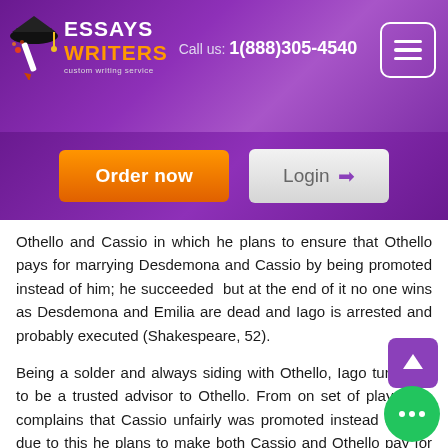Essays Writers - custom writing service | Call us: 1(888)305-4540
Othello and Cassio in which he plans to ensure that Othello pays for marrying Desdemona and Cassio by being promoted instead of him; he succeeded  but at the end of it no one wins as Desdemona and Emilia are dead and Iago is arrested and probably executed (Shakespeare, 52).
Being a solder and always siding with Othello, Iago turns out to be a trusted advisor to Othello. From on set of the play, Iago complains that Cassio unfairly was promoted instead of him, due to this he plans to make both Cassio and Othello pay for this.
In addition to having Rodorigo a friend by his side he uses